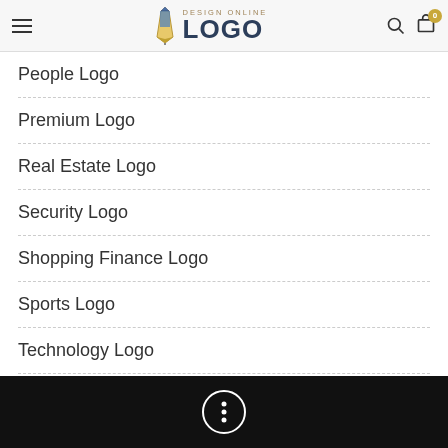Design Online Logo — navigation header with hamburger menu, search icon, and cart (0)
People Logo
Premium Logo
Real Estate Logo
Security Logo
Shopping Finance Logo
Sports Logo
Technology Logo
Transport & Travel Logo
[Figure (other): Dark footer bar with a circular more-options icon (three vertical dots inside a circle outline)]